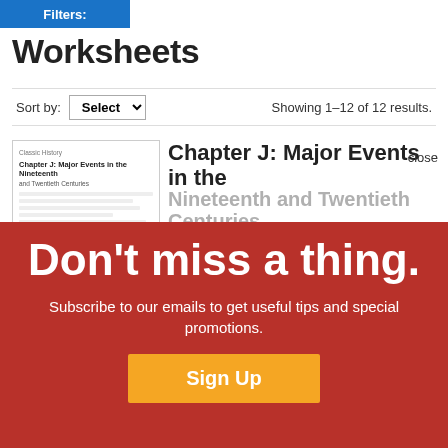Filters:
Worksheets
Sort by: Select   Showing 1–12 of 12 results.
[Figure (screenshot): Thumbnail of a worksheet document titled 'Chapter J: Major Events in the Nineteenth and Twentieth Centuries']
Chapter J: Major Events in the Nineteenth and Twentieth Centuries
Students order important events from the 19th and 20th centuries.
Joy and Hope for the Modern World
This handout provides questions for students to
[Figure (screenshot): Red popup overlay: Don't miss a thing. Subscribe to our emails to get useful tips and special promotions. Sign Up button.]
Don't miss a thing.
Subscribe to our emails to get useful tips and special promotions.
Sign Up